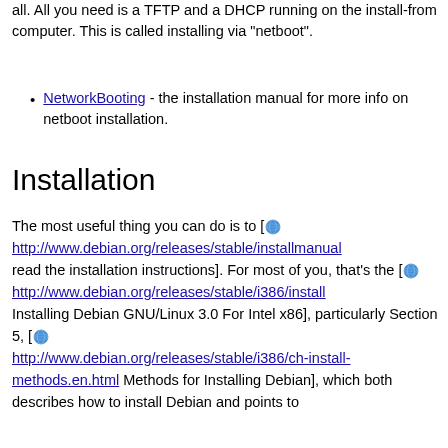all. All you need is a TFTP and a DHCP running on the install-from computer. This is called installing via "netboot".
NetworkBooting - the installation manual for more info on netboot installation.
Installation
The most useful thing you can do is to [ http://www.debian.org/releases/stable/installmanual read the installation instructions]. For most of you, that's the [ http://www.debian.org/releases/stable/i386/install Installing Debian GNU/Linux 3.0 For Intel x86], particularly Section 5, [ http://www.debian.org/releases/stable/i386/ch-install-methods.en.html Methods for Installing Debian], which both describes how to install Debian and points to